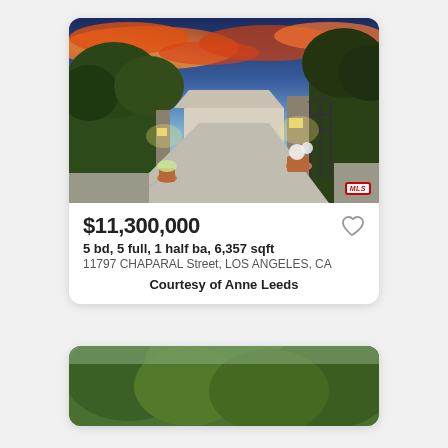[Figure (photo): Exterior photo of luxury home at dusk with dramatic orange and blue sky, stone gate pillars, iron gate, driveway, and lush landscaping. MLS badge in bottom-right corner.]
$11,300,000
5 bd, 5 full, 1 half ba, 6,357 sqft
11797 CHAPARAL Street, LOS ANGELES, CA
Courtesy of Anne Leeds
[Figure (photo): Partially visible exterior photo of a home surrounded by dense green trees.]